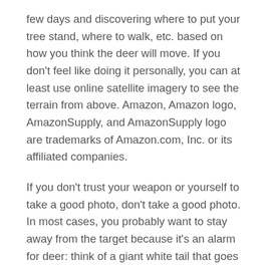few days and discovering where to put your tree stand, where to walk, etc. based on how you think the deer will move. If you don't feel like doing it personally, you can at least use online satellite imagery to see the terrain from above. Amazon, Amazon logo, AmazonSupply, and AmazonSupply logo are trademarks of Amazon.com, Inc. or its affiliated companies.
If you don't trust your weapon or yourself to take a good photo, don't take a good photo. In most cases, you probably want to stay away from the target because it's an alarm for deer: think of a giant white tail that goes through the woods warning all other deer of danger. I can't count the times I've been in a tree looking at a cotton field in South Georgia in a white T-shirt with no deer shortage. And my favorite jacket for cold weather is